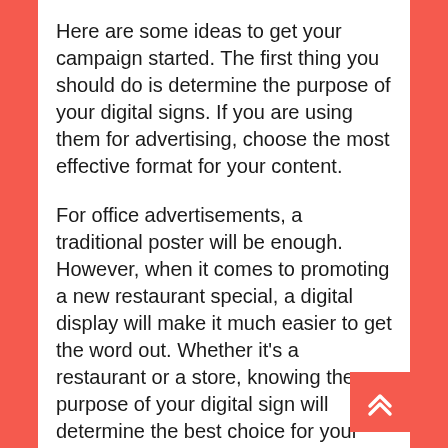Here are some ideas to get your campaign started. The first thing you should do is determine the purpose of your digital signs. If you are using them for advertising, choose the most effective format for your content.
For office advertisements, a traditional poster will be enough. However, when it comes to promoting a new restaurant special, a digital display will make it much easier to get the word out. Whether it's a restaurant or a store, knowing the purpose of your digital sign will determine the best choice for your business. Using private label television and apps will allow you to select the content you want and format it accordingly. With the ability to choose content and schedule it accordingly